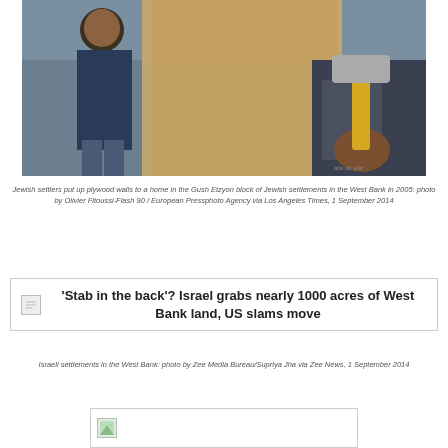[Figure (photo): Jewish settlers putting up plywood walls to a home in the Gush Etzyon block of Jewish settlements in the West Bank, 2005]
Jewish settlers put up plywood walls to a home in the Gush Etzyon block of Jewish settlements in the West Bank in 2005: photo by Olivier Fitoussi-Flash 90 / European Pressphoto Agency via Los Angeles Times, 1 September 2014
[Figure (other): Article link: 'Stab in the back'? Israel grabs nearly 1000 acres of West Bank land, US slams move]
Israeli settlements in the West Bank: photo by Zee Media Bureau/Supriya Jha via Zee News, 1 September 2014
[Figure (photo): Partial image at bottom of page]